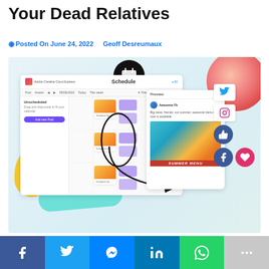Your Dead Relatives
Posted On June 24, 2022   Geoff Desreumaux
[Figure (screenshot): A promotional illustration of Adobe Creative Cloud Express social media scheduling interface showing a calendar/schedule UI with post previews, social media icons (Twitter, Instagram, Facebook), a summer menu food photo preview, and decorative elements including a grapefruit and colorful blobs]
f  [twitter]  [messenger]  in  [whatsapp]  +